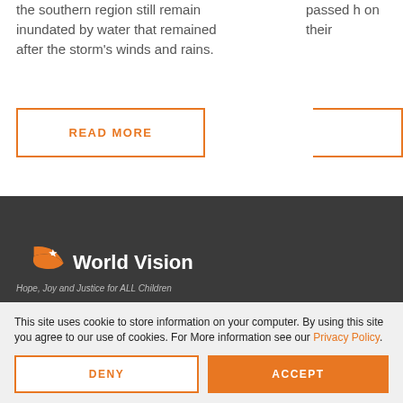the southern region still remain inundated by water that remained after the storm's winds and rains.
passed h on their
READ MORE
[Figure (logo): World Vision logo with orange swoosh and star, white text 'World Vision' and tagline 'Hope, Joy and Justice for ALL Children']
This site uses cookie to store information on your computer. By using this site you agree to our use of cookies. For More information see our Privacy Policy.
DENY
ACCEPT